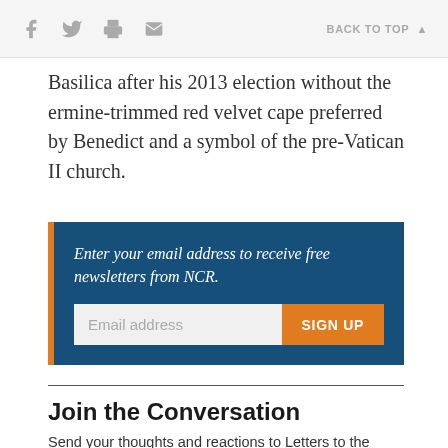f [facebook] [twitter] [print] [email] BACK TO TOP ▲
Basilica after his 2013 election without the ermine-trimmed red velvet cape preferred by Benedict and a symbol of the pre-Vatican II church.
[Figure (infographic): Newsletter signup box with blue background and orange left border. Text: 'Enter your email address to receive free newsletters from NCR.' Email address input field and orange SIGN UP button.]
Join the Conversation
Send your thoughts and reactions to Letters to the Editor. Learn more here